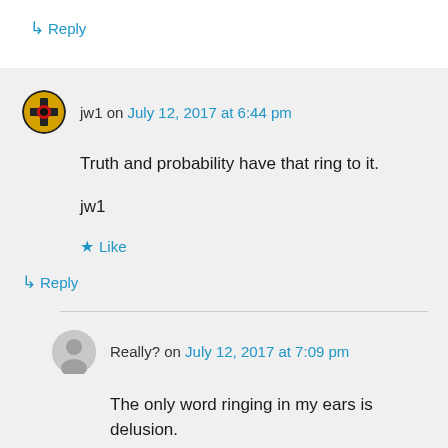↳ Reply
jw1 on July 12, 2017 at 6:44 pm
Truth and probability have that ring to it.
jw1
★ Like
↳ Reply
Really? on July 12, 2017 at 7:09 pm
The only word ringing in my ears is delusion.